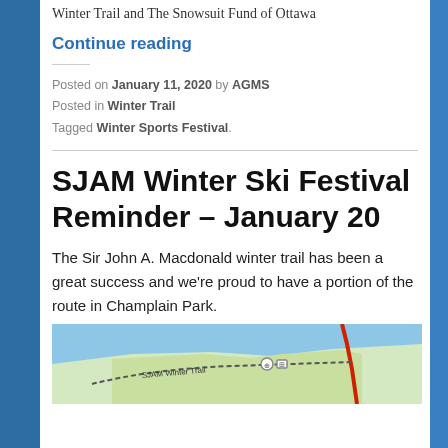Winter Trail and The Snowsuit Fund of Ottawa
Continue reading
Posted on January 11, 2020 by AGMS
Posted in Winter Trail
Tagged Winter Sports Festival.
SJAM Winter Ski Festival Reminder – January 20
The Sir John A. Macdonald winter trail has been a great success and we're proud to have a portion of the route in Champlain Park.
[Figure (map): Map showing SJAM Winter Trail route in Champlain Park area]